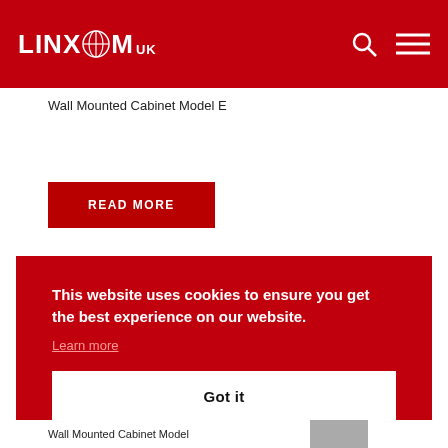LINXCOM UK
Wall Mounted Cabinet Model E
Read more
This website uses cookies to ensure you get the best experience on our website.
Learn more
Got it
Wall Mounted Cabinet Model E